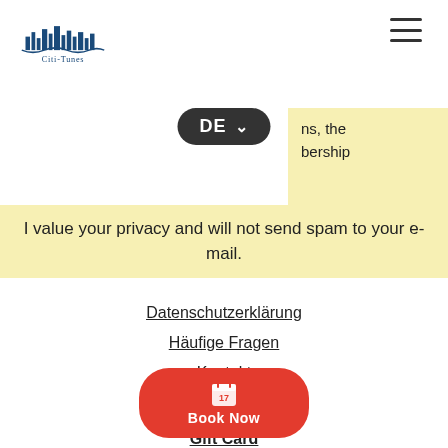[Figure (logo): Citi-Tunes logo with city skyline graphic and text 'Citi-Tunes' below]
ns, the
bership
I value your privacy and will not send spam to your e-mail.
Datenschutzerklärung
Häufige Fragen
Kontakt
Virtuelle Touren
Gift Card
cititunescontact@gmail.com
Helsinki: +358 50 4938 372
Bonn: [number] 9 677